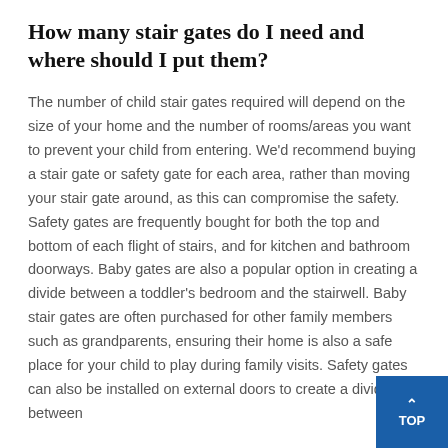How many stair gates do I need and where should I put them?
The number of child stair gates required will depend on the size of your home and the number of rooms/areas you want to prevent your child from entering. We'd recommend buying a stair gate or safety gate for each area, rather than moving your stair gate around, as this can compromise the safety. Safety gates are frequently bought for both the top and bottom of each flight of stairs, and for kitchen and bathroom doorways. Baby gates are also a popular option in creating a divide between a toddler's bedroom and the stairwell. Baby stair gates are often purchased for other family members such as grandparents, ensuring their home is also a safe place for your child to play during family visits. Safety gates can also be installed on external doors to create a divide between